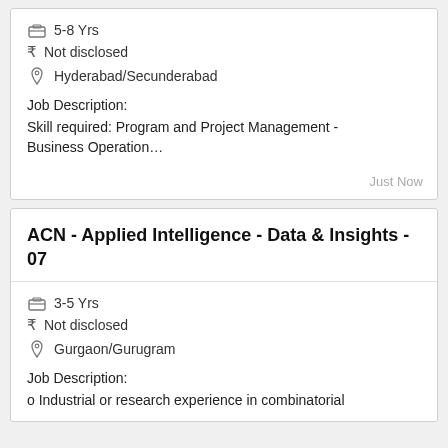5-8 Yrs
₹ Not disclosed
Hyderabad/Secunderabad
Job Description:
Skill required: Program and Project Management - Business Operation…
Just Now
ACN - Applied Intelligence - Data & Insights - 07
3-5 Yrs
₹ Not disclosed
Gurgaon/Gurugram
Job Description:
o Industrial or research experience in combinatorial